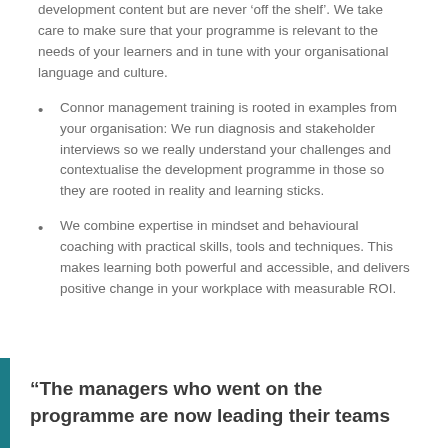development content but are never 'off the shelf'. We take care to make sure that your programme is relevant to the needs of your learners and in tune with your organisational language and culture.
Connor management training is rooted in examples from your organisation: We run diagnosis and stakeholder interviews so we really understand your challenges and contextualise the development programme in those so they are rooted in reality and learning sticks.
We combine expertise in mindset and behavioural coaching with practical skills, tools and techniques. This makes learning both powerful and accessible, and delivers positive change in your workplace with measurable ROI.
“The managers who went on the programme are now leading their teams